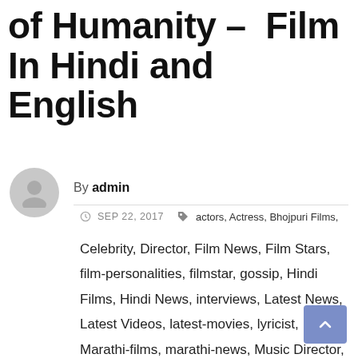of Humanity – Film In Hindi and English
By admin
SEP 22, 2017  actors, Actress, Bhojpuri Films, Celebrity, Director, Film News, Film Stars, film-personalities, filmstar, gossip, Hindi Films, Hindi News, interviews, Latest News, Latest Videos, latest-movies, lyricist, Marathi-films, marathi-news, Music Director, New Comers, New Films, photos, pics, producer, Promos, Singers, Trailor, videos